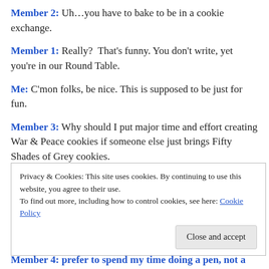Member 2: Uh…you have to bake to be in a cookie exchange.
Member 1: Really?  That's funny. You don't write, yet you're in our Round Table.
Me: C'mon folks, be nice. This is supposed to be just for fun.
Member 3: Why should I put major time and effort creating War & Peace cookies if someone else just brings Fifty Shades of Grey cookies.
Privacy & Cookies: This site uses cookies. By continuing to use this website, you agree to their use.
To find out more, including how to control cookies, see here: Cookie Policy
[Close and accept]
Member 4: ...prefer to spend my time doing a pen, not a